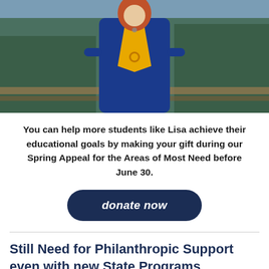[Figure (photo): Young woman in blue dress wearing a gold graduation stole with a university seal medallion, posing outdoors near wooden railing with trees in background]
You can help more students like Lisa achieve their educational goals by making your gift during our Spring Appeal for the Areas of Most Need before June 30.
donate now
Still Need for Philanthropic Support even with new State Programs